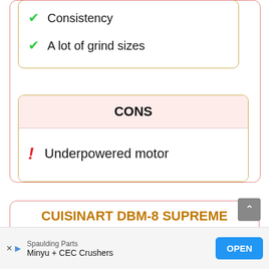✓ Consistency
✓ A lot of grind sizes
CONS
! Underpowered motor
CUISINART DBM-8 SUPREME GRIND AUTOMATIC BURR MILL
Spaulding Parts
Minyu + CEC Crushers